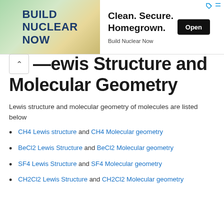[Figure (other): Advertisement banner for 'Build Nuclear Now' with logo on left and 'Clean. Secure. Homegrown.' text on right with an Open button]
Lewis Structure and Molecular Geometry
Lewis structure and molecular geometry of molecules are listed below
CH4 Lewis structure and CH4 Molecular geometry
BeCl2 Lewis Structure and BeCl2 Molecular geometry
SF4 Lewis Structure and SF4 Molecular geometry
CH2Cl2 Lewis Structure and CH2Cl2 Molecular geometry